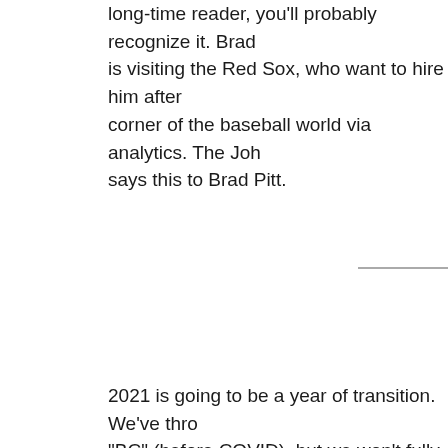long-time reader, you'll probably recognize it. Brad is visiting the Red Sox, who want to hire him after corner of the baseball world via analytics. The Joh says this to Brad Pitt.
[Figure (screenshot): Screenshot of a quote box with gray background containing a quote from the movie Moneyball attributed to John Henry. The quote reads: 'The first guy through the wall, he always gets bloodied. Always. This is threatening, not just a way of doing business but in their minds, it's threatening the game. But really what it is threatening is their livelihood. It's threatening their jobs. It's threatening the way that they do things. And every time that happens, whether it is a Government or a way of doing business or whatever it is, the people who are holding the reigns, they have their hands on the switch, they go bats*** crazy.' Attribution: John Henry - Moneyball]
2021 is going to be a year of transition. We've thro "BC" (before COVID), but we won't fully settle